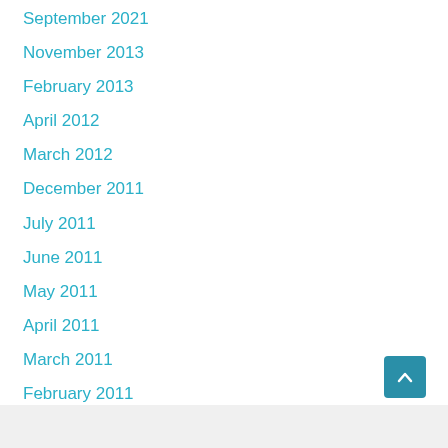September 2021
November 2013
February 2013
April 2012
March 2012
December 2011
July 2011
June 2011
May 2011
April 2011
March 2011
February 2011
December 2010